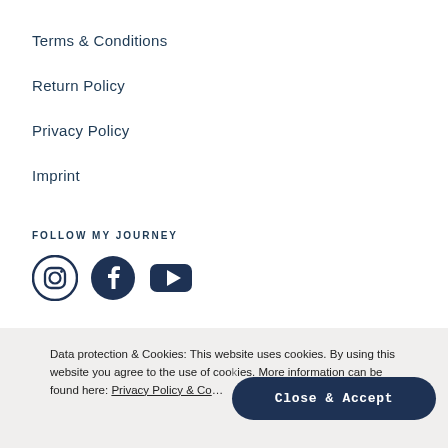Terms & Conditions
Return Policy
Privacy Policy
Imprint
FOLLOW MY JOURNEY
[Figure (illustration): Three social media icons: Instagram, Facebook, YouTube]
Data protection & Cookies: This website uses cookies. By using this website you agree to the use of cookies. More information can be found here: Privacy Policy & Co...
Close & Accept